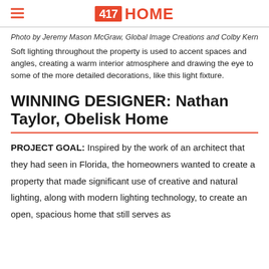417 HOME
Photo by Jeremy Mason McGraw, Global Image Creations and Colby Kern
Soft lighting throughout the property is used to accent spaces and angles, creating a warm interior atmosphere and drawing the eye to some of the more detailed decorations, like this light fixture.
WINNING DESIGNER: Nathan Taylor, Obelisk Home
PROJECT GOAL: Inspired by the work of an architect that they had seen in Florida, the homeowners wanted to create a property that made significant use of creative and natural lighting, along with modern lighting technology, to create an open, spacious home that still serves as